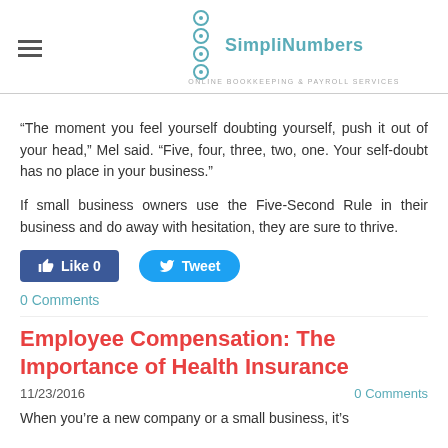SimpliNumbers - Online Bookkeeping & Payroll Services
“The moment you feel yourself doubting yourself, push it out of your head,” Mel said. “Five, four, three, two, one. Your self-doubt has no place in your business.”
If small business owners use the Five-Second Rule in their business and do away with hesitation, they are sure to thrive.
[Figure (other): Social sharing buttons: Like 0 (Facebook) and Tweet (Twitter)]
0 Comments
Employee Compensation: The Importance of Health Insurance
11/23/2016
0 Comments
When you’re a new company or a small business, it’s